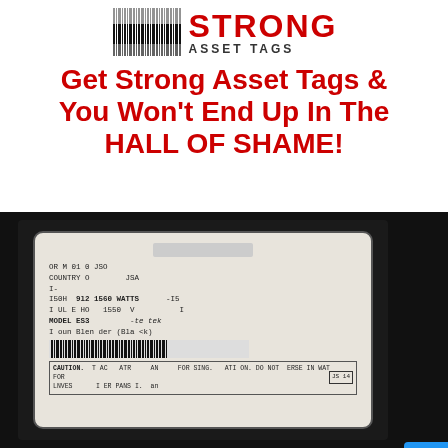[Figure (logo): Strong Asset Tags logo with barcode graphic on left and STRONG ASSET TAGS text on right]
Get Strong Asset Tags & You Won't End Up In The HALL OF SHAME!
[Figure (photo): Photo of a damaged, worn product label showing MODEL ES3, 1560 WATTS, COUNTRY OF ORIGIN USA, and caution text with a barcode. Label is on a dark background.]